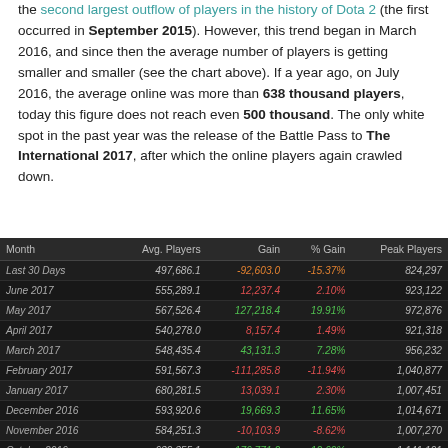the second largest outflow of players in the history of Dota 2 (the first occurred in September 2015). However, this trend began in March 2016, and since then the average number of players is getting smaller and smaller (see the chart above). If a year ago, on July 2016, the average online was more than 638 thousand players, today this figure does not reach even 500 thousand. The only white spot in the past year was the release of the Battle Pass to The International 2017, after which the online players again crawled down.
| Month | Avg. Players | Gain | % Gain | Peak Players |
| --- | --- | --- | --- | --- |
| Last 30 Days | 497,686.1 | -92,603.0 | -15.37% | 824,297 |
| June 2017 | 555,289.1 | 12,237.4 | 2.10% | 923,122 |
| May 2017 | 567,526.4 | 127,218.4 | 19.91% | 972,876 |
| April 2017 | 540,278.0 | 8,157.4 | 1.49% | 921,318 |
| March 2017 | 548,435.4 | 43,131.3 | 7.28% | 956,232 |
| February 2017 | 591,567.3 | -111,285.8 | -11.94% | 1,040,877 |
| January 2017 | 680,281.5 | 13,039.1 | 2.30% | 1,007,451 |
| December 2016 | 593,920.6 | 19,669.3 | 11.65% | 1,014,671 |
| November 2016 | 584,251.3 | -10,103.9 | -8.62% | 1,007,270 |
| October 2016 | 639,355.1 | 176,771.2 | 12.69% | 1,141,191 |
| September 2016 | 622,583.9 | -43,429.2 | -6.02% | 1,064,377 |
| August 2016 | 666,013.1 | 127,800.4 | 14.30% | 1,117,519 |
| July 2016 | 638,212.7 | -2,014.3 | -0.31% | 1,084,198 |
| June 2016 | 640,227.0 | 176,428.3 | 12.63% | 1,095,991 |
| May 2016 | 622,492.3 | -771.4 | -1.64% | 6,376,371 |